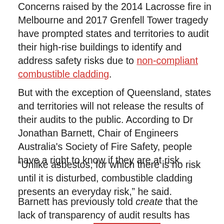Concerns raised by the 2014 Lacrosse fire in Melbourne and 2017 Grenfell Tower tragedy have prompted states and territories to audit their high-rise buildings to identify and address safety risks due to non-compliant combustible cladding.
But with the exception of Queensland, states and territories will not release the results of their audits to the public. According to Dr Jonathan Barnett, Chair of Engineers Australia's Society of Fire Safety, people have a right to know if they are at risk.
“Unlike asbestos, for which there is no risk until it is disturbed, combustible cladding presents an everyday risk,” he said.
Barnett has previously told create that the lack of transparency of audit results has contributed to an insurance crisis, making it difficult for building certifiers